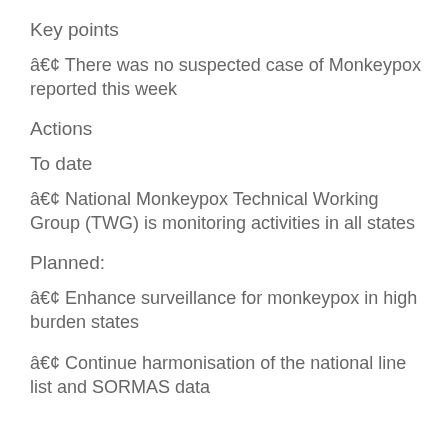Key points
• There was no suspected case of Monkeypox reported this week
Actions
To date
• National Monkeypox Technical Working Group (TWG) is monitoring activities in all states
Planned:
• Enhance surveillance for monkeypox in high burden states
• Continue harmonisation of the national line list and SORMAS data